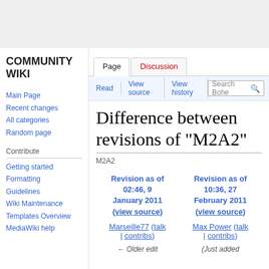Community Wiki
Page | Discussion | Read | View source | View history
Difference between revisions of "M2A2"
M2A2
| Revision as of 02:46, 9 January 2011 (view source) | Revision as of 10:36, 27 February 2011 (view source) |
| --- | --- |
| Marseille77 (talk | contribs) | Max Power (talk | contribs) |
| ← Older edit | (Just added |